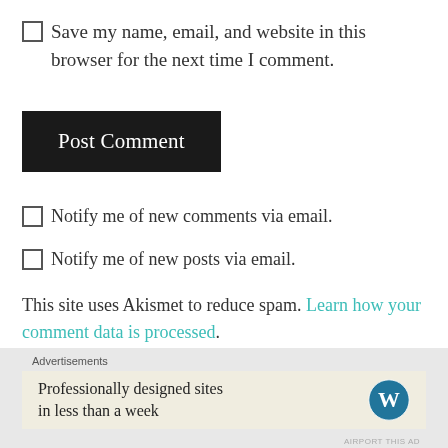Save my name, email, and website in this browser for the next time I comment.
Post Comment
Notify me of new comments via email.
Notify me of new posts via email.
This site uses Akismet to reduce spam. Learn how your comment data is processed.
Advertisements
Professionally designed sites in less than a week